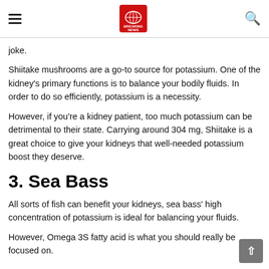Breaking News
joke.
Shiitake mushrooms are a go-to source for potassium. One of the kidney's primary functions is to balance your bodily fluids. In order to do so efficiently, potassium is a necessity.
However, if you're a kidney patient, too much potassium can be detrimental to their state. Carrying around 304 mg, Shiitake is a great choice to give your kidneys that well-needed potassium boost they deserve.
3. Sea Bass
All sorts of fish can benefit your kidneys, sea bass' high concentration of potassium is ideal for balancing your fluids.
However, Omega 3S fatty acid is what you should really be focused on.